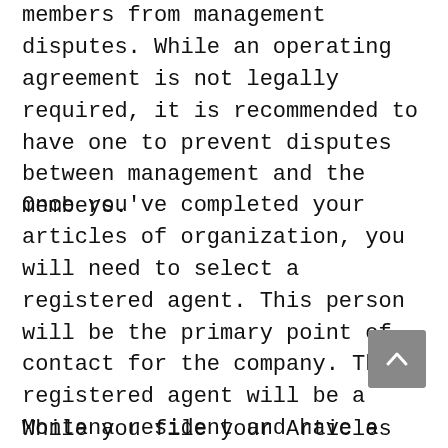members from management disputes. While an operating agreement is not legally required, it is recommended to have one to prevent disputes between management and the members.
Once you've completed your articles of organization, you will need to select a registered agent. This person will be the primary point of contact for the company. The registered agent will be a Montana resident and have a physical address. They must also be a licensed company. This agent will be able to receive government correspondence and compliance documents on behalf of the company. You can find your registered agent in Montana by searching online.
While you file your Articles of Organization, the